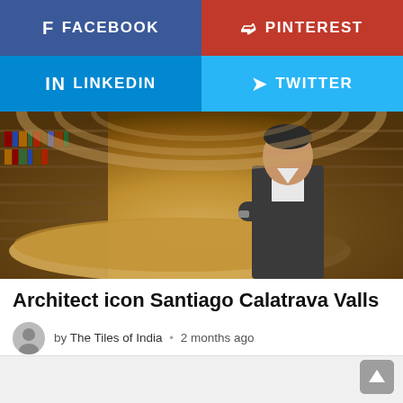[Figure (infographic): Social media share buttons: Facebook (dark blue), Pinterest (red), LinkedIn (light blue), Twitter (light blue)]
[Figure (photo): A man in a dark suit with arms crossed standing in front of a circular library interior with warm golden tones and bookshelves]
Architect icon Santiago Calatrava Valls
by The Tiles of India • 2 months ago
[Figure (infographic): Back to top scroll button (grey rounded square with upward arrow) at bottom right]